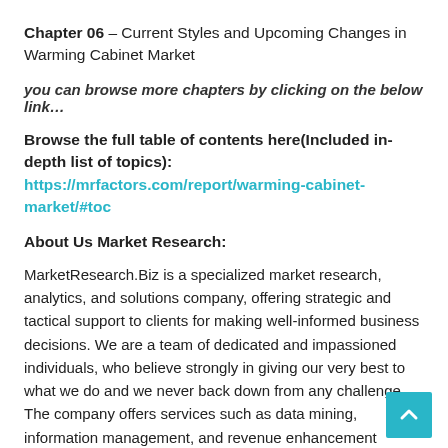Chapter 06 – Current Styles and Upcoming Changes in Warming Cabinet Market
you can browse more chapters by clicking on the below link…
Browse the full table of contents here(Included in-depth list of topics): https://mrfactors.com/report/warming-cabinet-market/#toc
About Us Market Research:
MarketResearch.Biz is a specialized market research, analytics, and solutions company, offering strategic and tactical support to clients for making well-informed business decisions. We are a team of dedicated and impassioned individuals, who believe strongly in giving our very best to what we do and we never back down from any challenge. The company offers services such as data mining, information management, and revenue enhancement solutions and suggestions. We cater to industries, individuals, and organizations